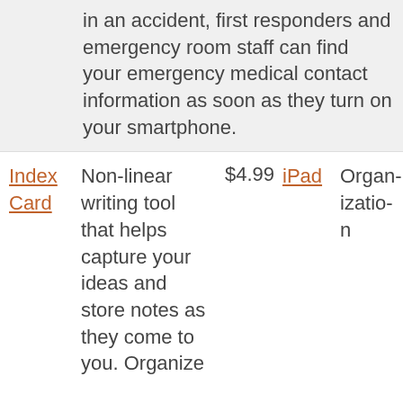in an accident, first responders and emergency room staff can find your emergency medical contact information as soon as they turn on your smartphone.
| Name | Description | Price | Platform | Category |
| --- | --- | --- | --- | --- |
| Index Card | Non-linear writing tool that helps capture your ideas and store notes as they come to you. Organize | $4.99 | iPad | Organization |